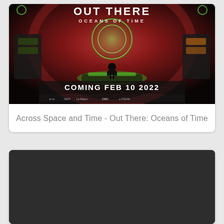[Figure (screenshot): Game promotional image for 'Out There: Oceans of Time' showing a silhouetted character on a glowing platform with sci-fi UI elements, text 'OUT THERE OCEANS OF TIME COMING FEB 10 2022' and sponsor logos at the bottom]
Across Space and Time - Out There: Oceans of Time
[Figure (screenshot): Dark/black video thumbnail placeholder, second card content not visible]